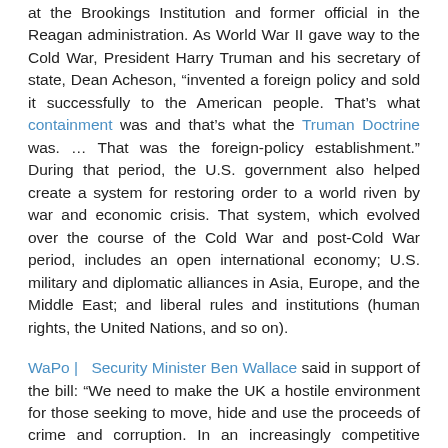at the Brookings Institution and former official in the Reagan administration. As World War II gave way to the Cold War, President Harry Truman and his secretary of state, Dean Acheson, "invented a foreign policy and sold it successfully to the American people. That's what containment was and that's what the Truman Doctrine was. … That was the foreign-policy establishment." During that period, the U.S. government also helped create a system for restoring order to a world riven by war and economic crisis. That system, which evolved over the course of the Cold War and post-Cold War period, includes an open international economy; U.S. military and diplomatic alliances in Asia, Europe, and the Middle East; and liberal rules and institutions (human rights, the United Nations, and so on).
WaPo | Security Minister Ben Wallace said in support of the bill: "We need to make the UK a hostile environment for those seeking to move, hide and use the proceeds of crime and corruption. In an increasingly competitive international marketplace, the UK simply cannot afford to be seen as a haven for dirty money." He added, "They all have expensive properties in London and think they are untouchable."